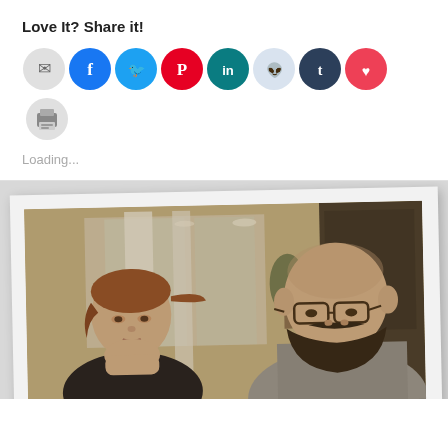Love It? Share it!
[Figure (infographic): Row of social sharing buttons: email (grey), Facebook (blue), Twitter (cyan/blue), Pinterest (red), LinkedIn (teal), Reddit (light blue/grey), Tumblr (dark navy), Pocket (red), Print (grey)]
Loading...
[Figure (photo): Polaroid-style photograph showing two people in what appears to be an office or conference room. On the left is a woman with reddish-brown hair in a ponytail, resting her chin on her hand. On the right is a bald man with a beard and glasses wearing a grey hoodie. The background shows glass walls and office interior. The photo has a warm vintage tone.]